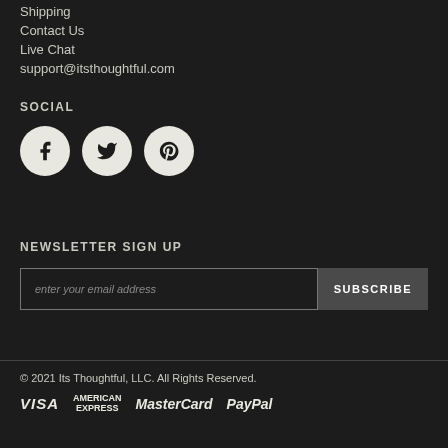Shipping
Contact Us
Live Chat
support@itsthoughtful.com
SOCIAL
[Figure (other): Three circular social media icons: Facebook (f), Twitter (bird), Pinterest (p)]
NEWSLETTER SIGN UP
enter your email address
SUBSCRIBE
© 2021 Its Thoughtful, LLC. All Rights Reserved.
[Figure (other): Payment method logos: VISA, AMERICAN EXPRESS, MasterCard, PayPal]